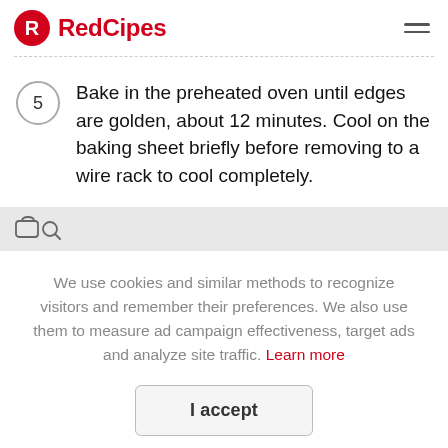RedCipes
5  Bake in the preheated oven until edges are golden, about 12 minutes. Cool on the baking sheet briefly before removing to a wire rack to cool completely.
We use cookies and similar methods to recognize visitors and remember their preferences. We also use them to measure ad campaign effectiveness, target ads and analyze site traffic. Learn more
I accept